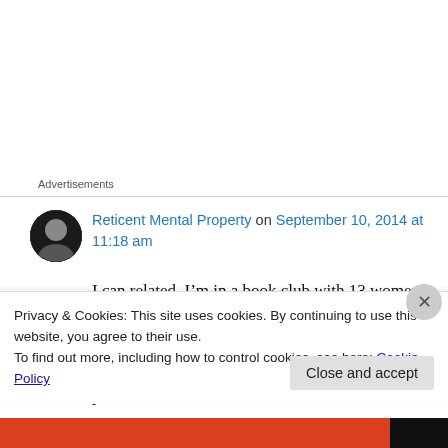Advertisements
Reticent Mental Property on September 10, 2014 at 11:18 am
I can related. I’m in a book club with 13 women and I never get the memo! Holiday party–everyone in sequins; I’m still in work attire. Night out at the book signing- I’m in jacket and pants.
Privacy & Cookies: This site uses cookies. By continuing to use this website, you agree to their use.
To find out more, including how to control cookies, see here: Cookie Policy
Close and accept